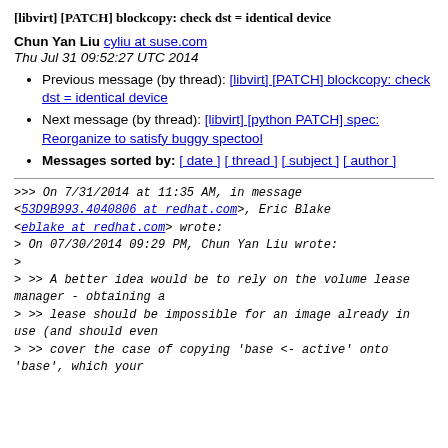[libvirt] [PATCH] blockcopy: check dst = identical device
Chun Yan Liu cyliu at suse.com
Thu Jul 31 09:52:27 UTC 2014
Previous message (by thread): [libvirt] [PATCH] blockcopy: check dst = identical device
Next message (by thread): [libvirt] [python PATCH] spec: Reorganize to satisfy buggy spectool
Messages sorted by: [ date ] [ thread ] [ subject ] [ author ]
>>> On 7/31/2014 at 11:35 AM, in message
<53D9B993.4040806 at redhat.com>, Eric Blake
<eblake at redhat.com> wrote:
> On 07/30/2014 09:29 PM, Chun Yan Liu wrote:
>
> >> A better idea would be to rely on the volume lease manager - obtaining a
> >> lease should be impossible for an image already in use (and should even
> >> cover the case of copying 'base <- active' onto
'base', which your